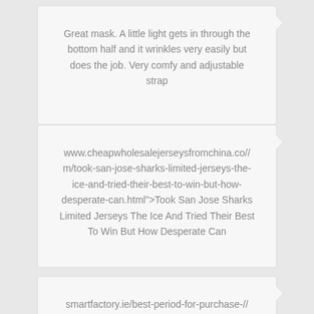Great mask. A little light gets in through the bottom half and it wrinkles very easily but does the job. Very comfy and adjustable strap
www.cheapwholesalejerseysfromchina.co//m/took-san-jose-sharks-limited-jerseys-the-ice-and-tried-their-best-to-win-but-how-desperate-can.html">Took San Jose Sharks Limited Jerseys The Ice And Tried Their Best To Win But How Desperate Can
smartfactory.ie/best-period-for-purchase-//football-shirts/">Best Period For Purchase